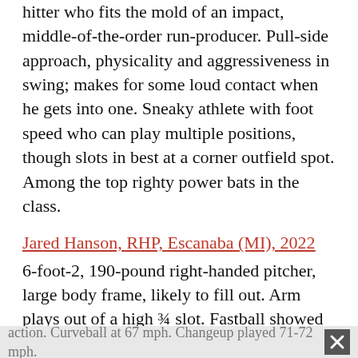6-foot, 195 pounds, thick/strong athlete. Right-handed hitter who fits the mold of an impact, middle-of-the-order run-producer. Pull-side approach, physicality and aggressiveness in swing; makes for some loud contact when he gets into one. Sneaky athlete with foot speed who can play multiple positions, though slots in best at a corner outfield spot. Among the top righty power bats in the class.
Jared Hanson, RHP, Escanaba (MI), 2022
6-foot-2, 190-pound right-handed pitcher, large body frame, likely to fill out. Arm plays out of a high ¾ slot. Fastball showed finish at times 80-81 mph, touching 82. Breaking ball played at 65-67 mph.
Griffin Smith, RHP, Appleton North, 2022
5-foot-10, 150-pounds, lean wiry frame. Arm is loose and showed above average arm speed, works out of high ¾ slot. Fastball sat 80-82 mph, slight arm side action. Curveball at 67 mph. Changeup played 71-72 mph.